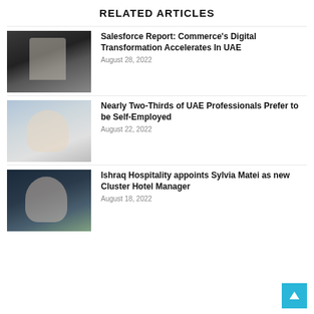RELATED ARTICLES
[Figure (photo): Photo of a man in a dark suit and tie against a dark background]
Salesforce Report: Commerce's Digital Transformation Accelerates In UAE
August 28, 2022
[Figure (photo): Photo of a woman with long hair in front of a bayt.com sign/background]
Nearly Two-Thirds of UAE Professionals Prefer to be Self-Employed
August 22, 2022
[Figure (photo): Photo of a woman in a dark blazer with plants visible in background]
Ishraq Hospitality appoints Sylvia Matei as new Cluster Hotel Manager
August 18, 2022